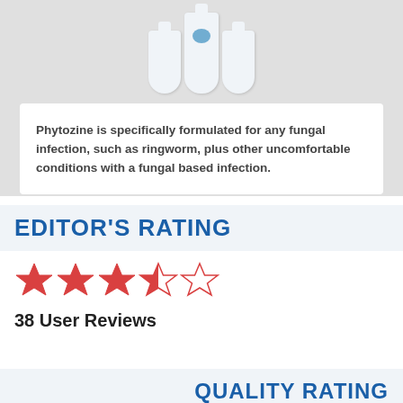[Figure (photo): Three white product tubes/containers for Phytozine arranged side by side with a blue logo visible on the center tube, on a light gray background]
Phytozine is specifically formulated for any fungal infection, such as ringworm, plus other uncomfortable conditions with a fungal based infection.
EDITOR'S RATING
[Figure (other): Star rating showing 3.5 out of 5 stars — three full red stars, one half red star, and one empty star outline]
38 User Reviews
QUALITY RATING